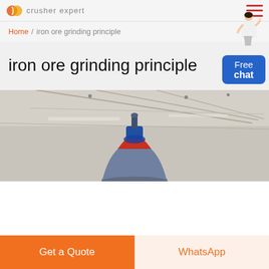crusher expert
Home / iron ore grinding principle
iron ore grinding principle
[Figure (photo): Industrial crusher equipment photographed from below showing a cone crusher with red and blue parts against a factory ceiling with steel truss structure]
Get a Quote
WhatsApp